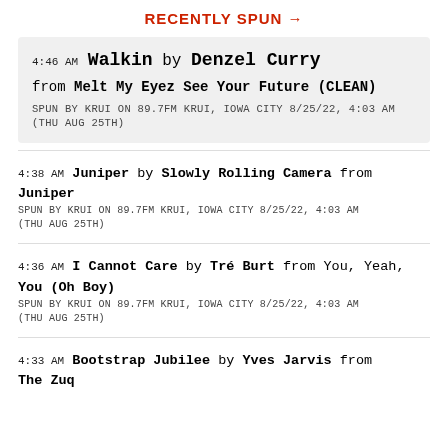RECENTLY SPUN →
4:46 AM Walkin by Denzel Curry from Melt My Eyez See Your Future (CLEAN) SPUN BY KRUI ON 89.7FM KRUI, IOWA CITY 8/25/22, 4:03 AM (THU AUG 25TH)
4:38 AM Juniper by Slowly Rolling Camera from Juniper SPUN BY KRUI ON 89.7FM KRUI, IOWA CITY 8/25/22, 4:03 AM (THU AUG 25TH)
4:36 AM I Cannot Care by Tré Burt from You, Yeah, You (Oh Boy) SPUN BY KRUI ON 89.7FM KRUI, IOWA CITY 8/25/22, 4:03 AM (THU AUG 25TH)
4:33 AM Bootstrap Jubilee by Yves Jarvis from The Zuq